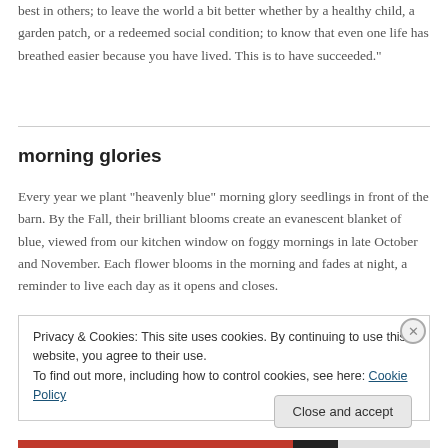best in others; to leave the world a bit better whether by a healthy child, a garden patch, or a redeemed social condition; to know that even one life has breathed easier because you have lived. This is to have succeeded."
morning glories
Every year we plant "heavenly blue" morning glory seedlings in front of the barn. By the Fall, their brilliant blooms create an evanescent blanket of blue, viewed from our kitchen window on foggy mornings in late October and November. Each flower blooms in the morning and fades at night, a reminder to live each day as it opens and closes.
Privacy & Cookies: This site uses cookies. By continuing to use this website, you agree to their use.
To find out more, including how to control cookies, see here: Cookie Policy